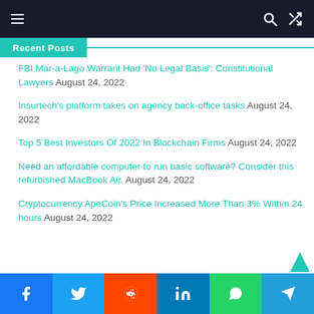Navigation bar with hamburger menu, search icon, shuffle icon
Recent Posts
FBI Mar-a-Lago Warrant Had 'No Legal Basis': Constitutional Lawyers August 24, 2022
Insurtech's platform takes on agency back-office tasks August 24, 2022
Top 5 Best Investors Of 2022 In Blockchain Firms August 24, 2022
Need an affordable computer to run basic software? Consider this refurbished MacBook Air. August 24, 2022
Cryptocurrency ApeCoin's Price Increased More Than 3% Within 24 hours August 24, 2022
Social share bar: Facebook, Twitter, Reddit, LinkedIn, WhatsApp, Telegram